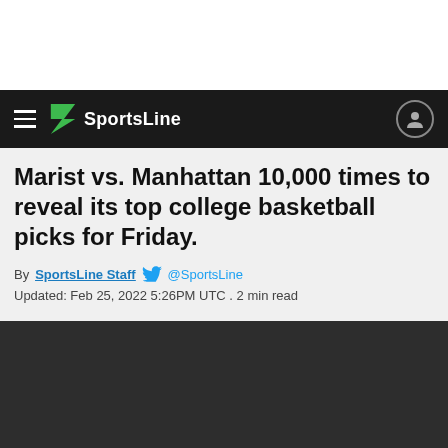SportsLine
Marist vs. Manhattan 10,000 times to reveal its top college basketball picks for Friday.
By SportsLine Staff @SportsLine Updated: Feb 25, 2022 5:26PM UTC . 2 min read
[Figure (other): Dark blurred background content area with JOIN NOW button at bottom]